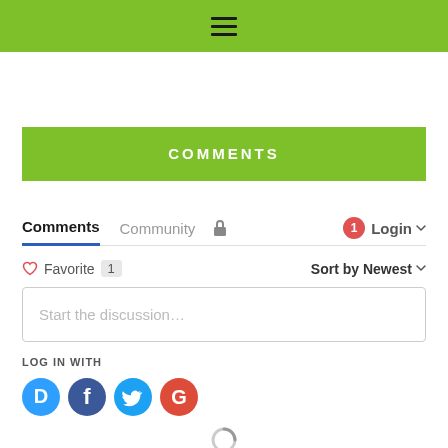Navigation menu (hamburger icon)
COMMENTS
Comments  Community  Login
♡ Favorite  1   Sort by Newest
Start the discussion…
LOG IN WITH
[Figure (infographic): Social login icons: Disqus (blue circle with D), Facebook (dark blue circle with f), Twitter (blue circle with bird), Google (red circle with G)]